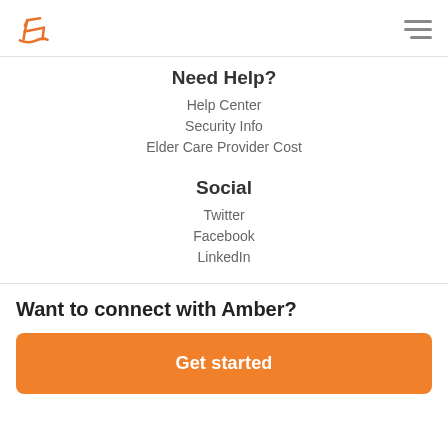Logo and navigation menu
Need Help?
Help Center
Security Info
Elder Care Provider Cost
Social
Twitter
Facebook
LinkedIn
Want to connect with Amber?
Get started